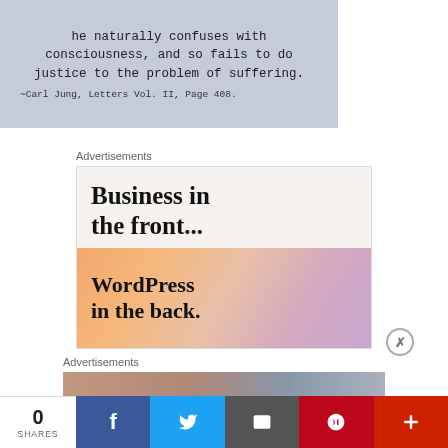[Figure (illustration): Quote image on grey-blue background: text reads 'he naturally confuses with consciousness, and so fails to do justice to the problem of suffering.' with attribution '~Carl Jung, Letters Vol. II, Page 408.']
Advertisements
[Figure (illustration): Advertisement banner: top half white with bold text 'Business in the front...', bottom half colorful gradient (orange/peach/pink/purple) with bold text 'WordPress in the back.']
Advertisements
[Figure (photo): Partial view of a second advertisement image strip showing food/pizza on left and a rectangular element on right.]
0 SHARES